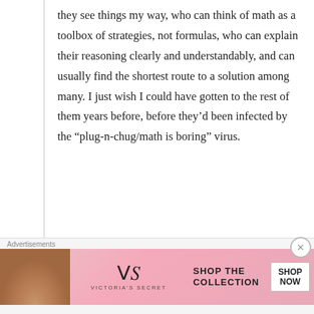they see things my way, who can think of math as a toolbox of strategies, not formulas, who can explain their reasoning clearly and understandably, and can usually find the shortest route to a solution among many. I just wish I could have gotten to the rest of them years before, before they’d been infected by the “plug-n-chug/math is boring” virus.
★ Loading...
↵ Reply
Pingback: Η μαμάκα μου | niemandsrosenie
Advertisements
[Figure (other): Victoria's Secret advertisement banner with a woman's photo on the left, VS logo in center, and 'SHOP THE COLLECTION / SHOP NOW' button on the right against a pink background.]